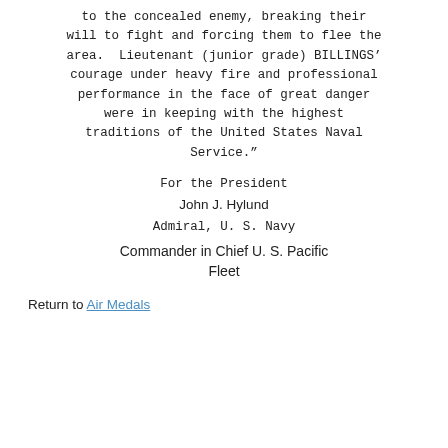to the concealed enemy, breaking their will to fight and forcing them to flee the area.  Lieutenant (junior grade) BILLINGS' courage under heavy fire and professional performance in the face of great danger were in keeping with the highest traditions of the United States Naval Service.”
For the President
John J. Hylund
Admiral, U. S. Navy
Commander in Chief U. S. Pacific Fleet
Return to Air Medals